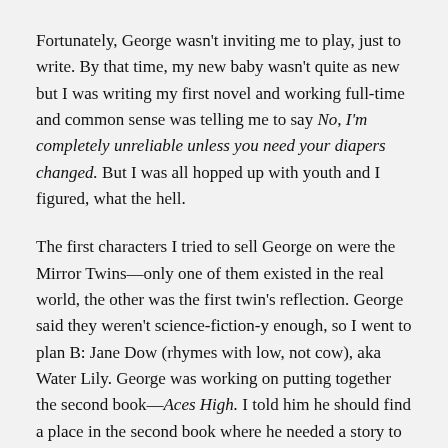Fortunately, George wasn't inviting me to play, just to write. By that time, my new baby wasn't quite as new but I was writing my first novel and working full-time and common sense was telling me to say No, I'm completely unreliable unless you need your diapers changed. But I was all hopped up with youth and I figured, what the hell.
The first characters I tried to sell George on were the Mirror Twins—only one of them existed in the real world, the other was the first twin's reflection. George said they weren't science-fiction-y enough, so I went to plan B: Jane Dow (rhymes with low, not cow), aka Water Lily. George was working on putting together the second book—Aces High. I told him he should find a place in the second book where he needed a story to get the overall plot from one place to another, and I would write that story.
Now, there were giants in those days, one of them being Roger Zelazny. George was, and still is, no slouch but the additional attraction of being in the same shared world as Roger Zelazny...